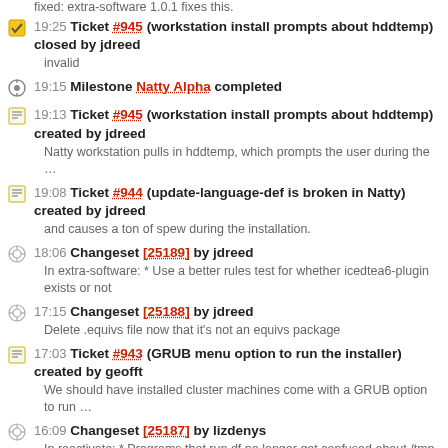fixed: extra-software 1.0.1 fixes this.
19:25 Ticket #945 (workstation install prompts about hddtemp) closed by jdreed
invalid
19:15 Milestone Natty Alpha completed
19:13 Ticket #945 (workstation install prompts about hddtemp) created by jdreed
Natty workstation pulls in hddtemp, which prompts the user during the …
19:08 Ticket #944 (update-language-def is broken in Natty) created by jdreed
and causes a ton of spew during the installation.
18:06 Changeset [25189] by jdreed
In extra-software: * Use a better rules test for whether icedtea6-plugin exists or not
17:15 Changeset [25188] by jdreed
Delete .equivs file now that it's not an equivs package
17:03 Ticket #943 (GRUB menu option to run the installer) created by geofft
We should have installed cluster machines come with a GRUB option to run …
16:09 Changeset [25187] by lizdenys
In reactivate: * Programs that run df no longer get confused about /tmp. (Trac #656) (Thanks to: Jon Reed for this patch.)